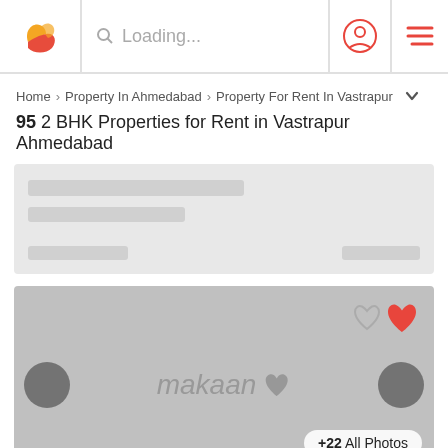Loading...
Home > Property In Ahmedabad > Property For Rent In Vastrapur
95 2 BHK Properties for Rent in Vastrapur Ahmedabad
[Figure (screenshot): Loading skeleton card placeholder with grey background and white placeholder bars]
[Figure (screenshot): Property image area with makaan watermark, navigation arrows, heart icons, and +22 All Photos button]